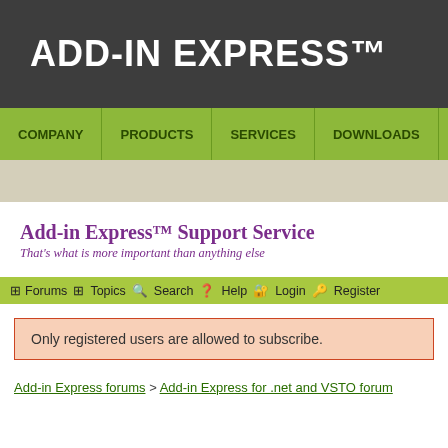ADD-IN EXPRESS™
COMPANY   PRODUCTS   SERVICES   DOWNLOADS   S
Add-in Express™ Support Service
That's what is more important than anything else
Forums   Topics   Search   Help   Login   Register
Only registered users are allowed to subscribe.
Add-in Express forums > Add-in Express for .net and VSTO forum